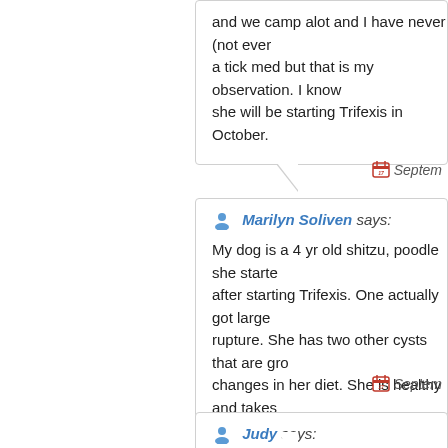and we camp alot and I have never (not ever a tick med but that is my observation. I know she will be starting Trifexis in October.
Septem
Marilyn Soliven says: My dog is a 4 yr old shitzu, poodle she started after starting Trifexis. One actually got large rupture. She has two other cysts that are growing changes in her diet. She is healthy and takes
Septem
Judy says: My 3 year old Boxer (66 lb) received his first